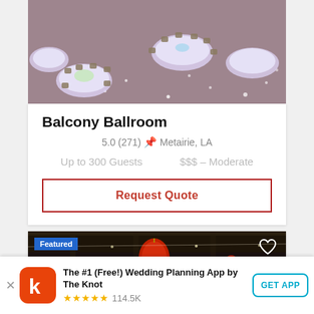[Figure (photo): Aerial view of a wedding venue ballroom with round tables covered in white tablecloths, chairs, floral centerpieces, and a sparkly floor lit in purple/blue lighting.]
Balcony Ballroom
5.0 (271) 📍 Metairie, LA
Up to 300 Guests   $$$ – Moderate
Request Quote
[Figure (photo): Dark interior venue photo showing hanging red Chinese lanterns and string lights, with a Featured badge and heart icon overlay.]
Featured
The #1 (Free!) Wedding Planning App by The Knot ★★★★★ 114.5K
GET APP